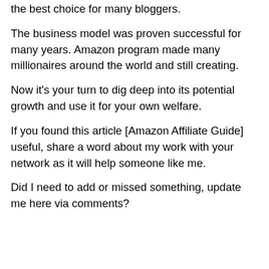the best choice for many bloggers.
The business model was proven successful for many years. Amazon program made many millionaires around the world and still creating.
Now it's your turn to dig deep into its potential growth and use it for your own welfare.
If you found this article [Amazon Affiliate Guide] useful, share a word about my work with your network as it will help someone like me.
Did I need to add or missed something, update me here via comments?